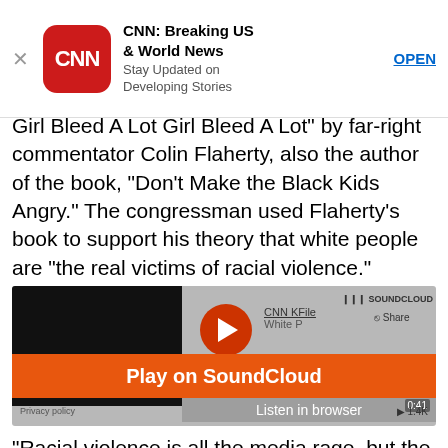[Figure (screenshot): CNN app advertisement banner with CNN logo icon, title 'CNN: Breaking US & World News', subtitle 'Stay Updated on Developing Stories', and OPEN button]
Girl Bleed A Lot" by far-right commentator Colin Flaherty, also the author of the book, "Don't Make the Black Kids Angry." The congressman used Flaherty's book to support his theory that white people are "the real victims of racial violence."
[Figure (screenshot): SoundCloud embedded audio player for CNN KFile 'White P...' audio clip with Play on SoundCloud orange button, Listen in browser option, 0:41 duration, Privacy policy link, and 1.4K plays]
"Racial violence is all the media rage, but the elephant in the living room is they have it wrong. The